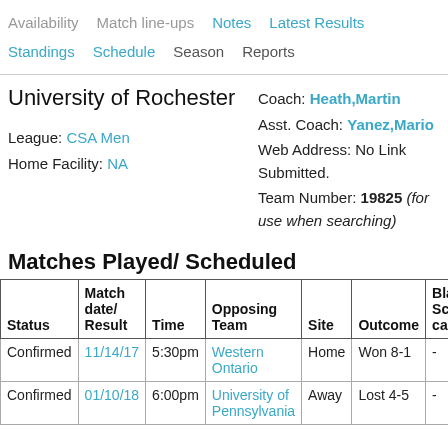Availability   Match line-ups   Notes   Latest Results   Standings   Schedule   Season   Reports
University of Rochester
League: CSA Men
Home Facility: NA
Coach: Heath,Martin
Asst. Coach: Yanez,Mario
Web Address: No Link Submitted.
Team Number: 19825 (for use when searching)
Matches Played/ Scheduled
| Status | Match date/ Result | Time | Opposing Team | Site | Outcome | Blank Score card |
| --- | --- | --- | --- | --- | --- | --- |
| Confirmed | 11/14/17 | 5:30pm | Western Ontario | Home | Won 8-1 | - |
| Confirmed | 01/10/18 | 6:00pm | University of Pennsylvania | Away | Lost 4-5 | - |